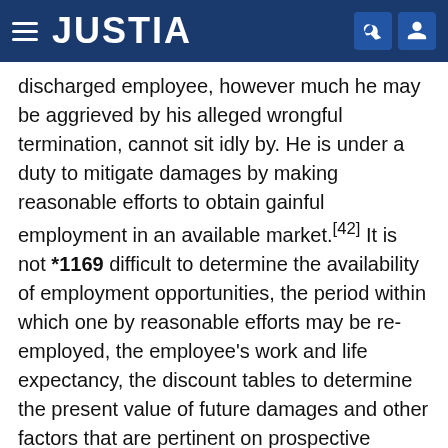JUSTIA
discharged employee, however much he may be aggrieved by his alleged wrongful termination, cannot sit idly by. He is under a duty to mitigate damages by making reasonable efforts to obtain gainful employment in an available market.[42] It is not *1169 difficult to determine the availability of employment opportunities, the period within which one by reasonable efforts may be re-employed, the employee's work and life expectancy, the discount tables to determine the present value of future damages and other factors that are pertinent on prospective damage awards. The mere fact that damages may be difficult of computation should not exonerate a wrongdoer from liability. "The most elementary conceptions of justice and public policy require that the wrongdoer shall bear the risk of the uncertainty which his own wrong has created."[43] Moreover, to restrict the employee to losses sustained